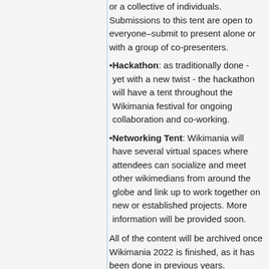or a collective of individuals. Submissions to this tent are open to everyone–submit to present alone or with a group of co-presenters.
Hackathon: as traditionally done - yet with a new twist - the hackathon will have a tent throughout the Wikimania festival for ongoing collaboration and co-working.
Networking Tent: Wikimania will have several virtual spaces where attendees can socialize and meet other wikimedians from around the globe and link up to work together on new or established projects. More information will be provided soon.
All of the content will be archived once Wikimania 2022 is finished, as it has been done in previous years.